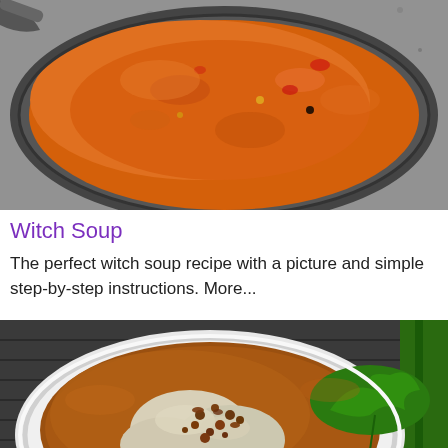[Figure (photo): Top-down view of a large pan with orange-red witch soup simmering on a stovetop, showing chunky tomato and vegetable broth.]
Witch Soup
The perfect witch soup recipe with a picture and simple step-by-step instructions. More...
[Figure (photo): A white bowl containing dumplings or pierogi in a brown broth, topped with crispy fried onions or bacon bits, garnished with fresh parsley leaves, on a woven placemat next to a green decorative element.]